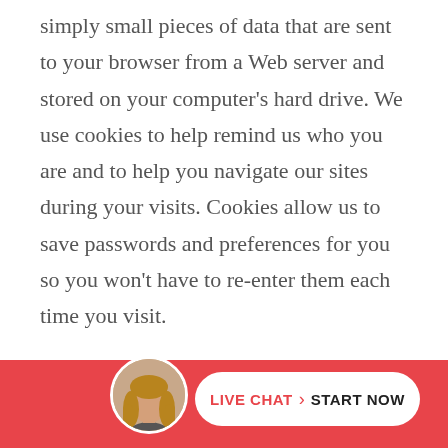simply small pieces of data that are sent to your browser from a Web server and stored on your computer's hard drive. We use cookies to help remind us who you are and to help you navigate our sites during your visits. Cookies allow us to save passwords and preferences for you so you won't have to re-enter them each time you visit.

The use of cookies is relatively
[Figure (screenshot): Live chat footer bar with a woman's avatar photo on the left and a white pill-shaped button reading 'LIVE CHAT > START NOW' on a red/coral background.]